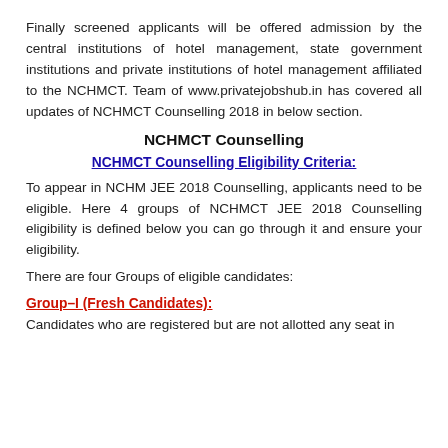Finally screened applicants will be offered admission by the central institutions of hotel management, state government institutions and private institutions of hotel management affiliated to the NCHMCT. Team of www.privatejobshub.in has covered all updates of NCHMCT Counselling 2018 in below section.
NCHMCT Counselling
NCHMCT Counselling Eligibility Criteria:
To appear in NCHM JEE 2018 Counselling, applicants need to be eligible. Here 4 groups of NCHMCT JEE 2018 Counselling eligibility is defined below you can go through it and ensure your eligibility.
There are four Groups of eligible candidates:
Group–I (Fresh Candidates):
Candidates who are registered but are not allotted any seat in